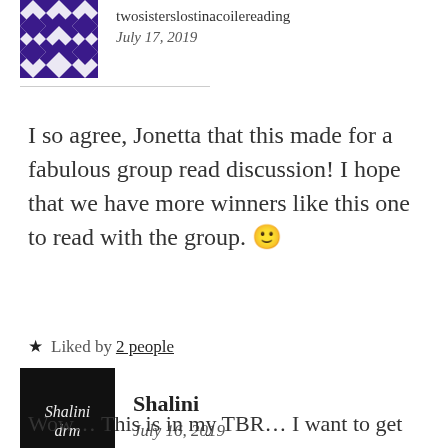[Figure (photo): Purple and white geometric quilt pattern avatar for twosisterslostinacoilreading]
twosisterslostinacoilereading
July 17, 2019
I so agree, Jonetta that this made for a fabulous group read discussion! I hope that we have more winners like this one to read with the group. 🙂
★ Liked by 2 people
[Figure (logo): Black square logo with cursive text 'Shalini drm' in white for Shalini]
Shalini
July 16, 2019
Wow… This is in my TBR… I want to get it soon. I have heard such good things about it. Great